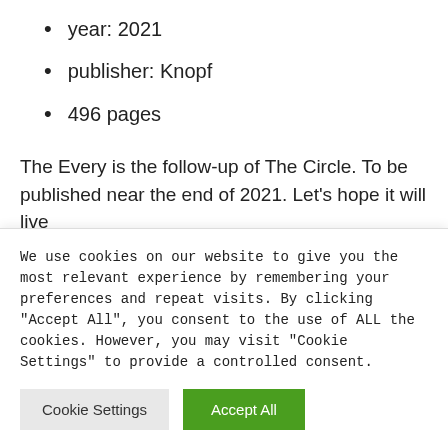year: 2021
publisher: Knopf
496 pages
The Every is the follow-up of The Circle. To be published near the end of 2021. Let's hope it will live
We use cookies on our website to give you the most relevant experience by remembering your preferences and repeat visits. By clicking "Accept All", you consent to the use of ALL the cookies. However, you may visit "Cookie Settings" to provide a controlled consent.